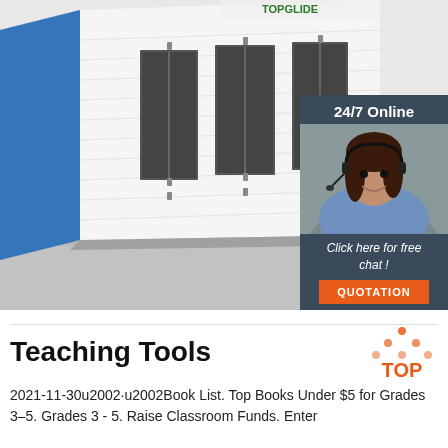[Figure (photo): Industrial spray paint booth with white paneled walls, large dark-framed windows, blue side panel, and concrete floor viewed at an angle. A '24/7 Online' chat widget with a woman wearing a headset is overlaid on the right side, with 'Click here for free chat!' text and an orange QUOTATION button.]
Teaching Tools
2021-11-30u2002·u2002Book List. Top Books Under $5 for Grades 3–5. Grades 3 - 5. Raise Classroom Funds. Enter